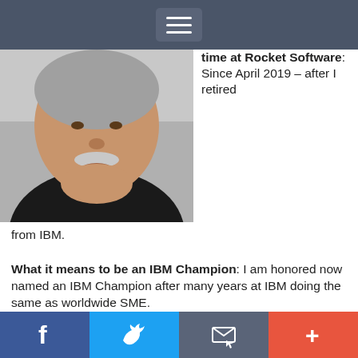Navigation menu button
[Figure (photo): Portrait photo of a middle-aged man with grey mustache wearing a black shirt, photo cropped at shoulders/chest]
time at Rocket Software: Since April 2019 – after I retired from IBM.
What it means to be an IBM Champion: I am honored now named an IBM Champion after many years at IBM doing the same as worldwide SME.
Social sharing bar: Facebook, Twitter, Email, Plus